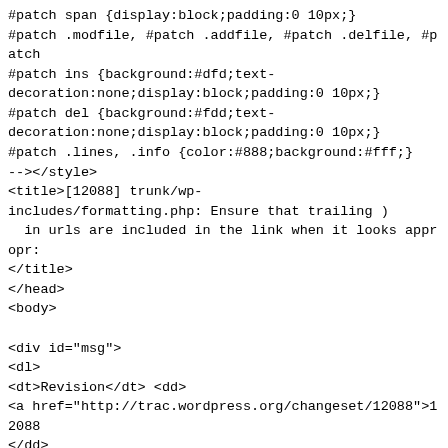#patch span {display:block;padding:0 10px;}
#patch .modfile, #patch .addfile, #patch .delfile, #patch
#patch ins {background:#dfd;text-decoration:none;display:block;padding:0 10px;}
#patch del {background:#fdd;text-decoration:none;display:block;padding:0 10px;}
#patch .lines, .info {color:#888;background:#fff;}
--></style>
<title>[12088] trunk/wp-includes/formatting.php: Ensure that trailing )
  in urls are included in the link when it looks appropr:
</title>
</head>
<body>

<div id="msg">
<dl>
<dt>Revision</dt> <dd>
<a href="http://trac.wordpress.org/changeset/12088">12088
</dd>
<dt>Author</dt> <dd>westi</dd>
<dt>Date</dt> <dd>2009-10-
22 18:46:27 +0000 (Thu, 22 Oct 2009)</dd>
</dl>

<h3>Log Message</h3>
<pre>Ensure that trailing ) in urls are included in the l
</pre>

<h3>Modified Paths</h3>